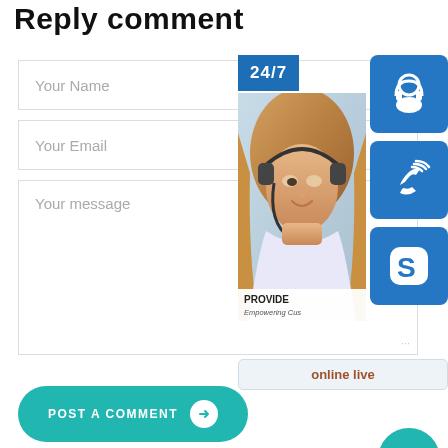Reply comment
Your Name
Your Email
Your message
[Figure (infographic): Customer support overlay widget showing a 24/7 banner, a photo of a woman with headset, three blue icon buttons (headset, phone, Skype), an 'online live' label, and a teal upward arrow circle button]
POST A COMMENT